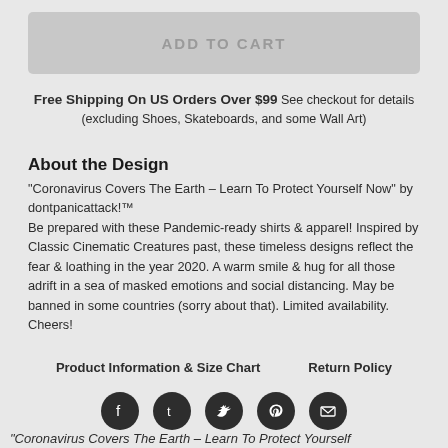[Figure (other): ADD TO CART button (greyed out/disabled state)]
Free Shipping On US Orders Over $99 See checkout for details (excluding Shoes, Skateboards, and some Wall Art)
About the Design
“Coronavirus Covers The Earth – Learn To Protect Yourself Now” by dontpanicattack!™ Be prepared with these Pandemic-ready shirts & apparel! Inspired by Classic Cinematic Creatures past, these timeless designs reflect the fear & loathing in the year 2020. A warm smile & hug for all those adrift in a sea of masked emotions and social distancing. May be banned in some countries (sorry about that). Limited availability. Cheers!
Product Information & Size Chart    Return Policy
[Figure (other): Social media icons row: Facebook, Tumblr, Twitter, Pinterest, Email]
“Coronavirus Covers The Earth – Learn To Protect Yourself